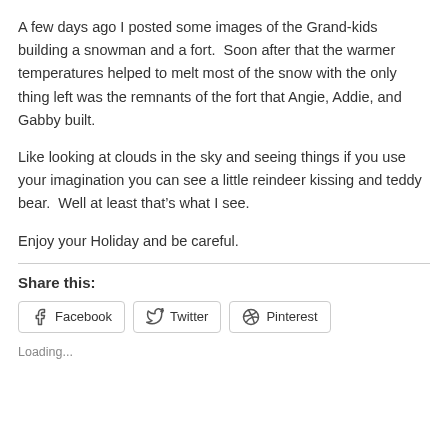A few days ago I posted some images of the Grand-kids building a snowman and a fort.  Soon after that the warmer temperatures helped to melt most of the snow with the only thing left was the remnants of the fort that Angie, Addie, and Gabby built.
Like looking at clouds in the sky and seeing things if you use your imagination you can see a little reindeer kissing and teddy bear.  Well at least that’s what I see.
Enjoy your Holiday and be careful.
Share this:
Loading...